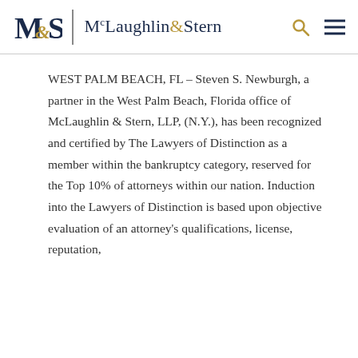[Figure (logo): McLaughlin & Stern law firm logo: M&S monogram in dark navy/gold and firm name 'McLaughlin&Stern' in dark navy serif font with gold ampersand, plus search and hamburger menu icons]
WEST PALM BEACH, FL – Steven S. Newburgh, a partner in the West Palm Beach, Florida office of McLaughlin & Stern, LLP, (N.Y.), has been recognized and certified by The Lawyers of Distinction as a member within the bankruptcy category, reserved for the Top 10% of attorneys within our nation. Induction into the Lawyers of Distinction is based upon objective evaluation of an attorney's qualifications, license, reputation,